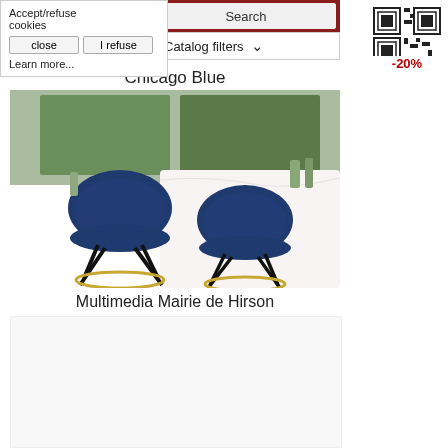[Figure (screenshot): Website navigation bar with menu icon, user icon, shopping cart icon, and search field on dark red background]
[Figure (screenshot): Cookie consent popup with close button, I refuse button, and Learn more link]
[Figure (screenshot): Catalog filters dropdown bar]
[Figure (photo): QR code box with -20% discount badge in red text]
Chicago Blue
[Figure (photo): Two navy blue bar stools with black legs and gold circular footrests in a white kitchen setting]
Multimedia Mairie de Hirson
[Figure (photo): Partially visible white room product image placeholder]